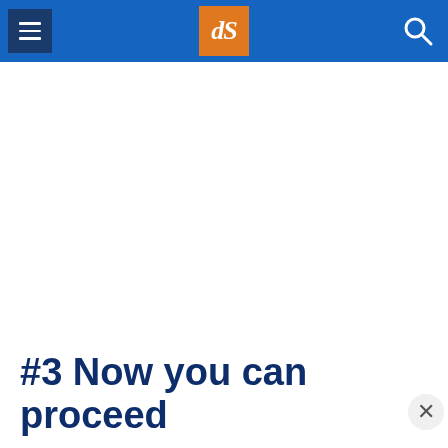dPS navigation header with hamburger menu, dPS logo, and search icon
[Figure (screenshot): White blank content area (advertisement or image placeholder)]
#3 Now you can proceed